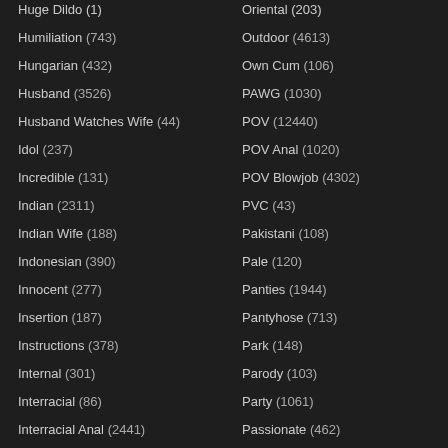Huge Dildo (1)
Oriental (203)
Humiliation (743)
Outdoor (4613)
Hungarian (432)
Own Cum (106)
Husband (3526)
PAWG (1030)
Husband Watches Wife (44)
POV (12440)
Idol (237)
POV Anal (1020)
Incredible (131)
POV Blowjob (4302)
Indian (2311)
PVC (43)
Indian Wife (188)
Pakistani (108)
Indonesian (390)
Pale (120)
Innocent (277)
Panties (1944)
Insertion (187)
Pantyhose (713)
Instructions (378)
Park (148)
Internal (301)
Parody (103)
Interracial (86)
Party (1061)
Interracial Anal (2441)
Passionate (462)